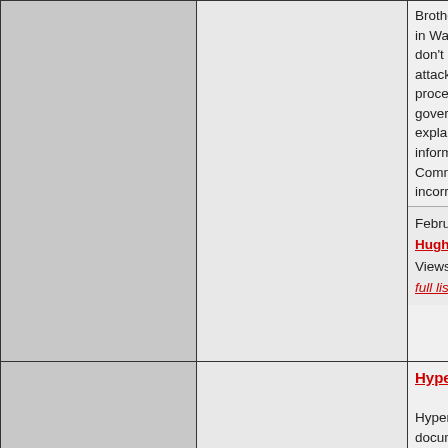Brother" tyranny in Washington, h don't even realiz attack, and that r procedures will r government's di explains how Ma informers to mak Communist and incorrect...
February 24th, 24 Hugh Views: 2,308 - C full list...
HyperNormalisa HyperNormalisa documentary by Adam Curtis. Th on 16 October 2
December 24th, Hugh Views: 2,300 - C None...
Immigration - T The immigration truth